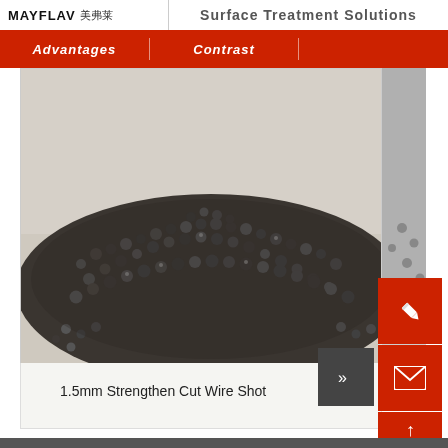MAYFLAV 美弗莱 | Surface Treatment Solutions
Advantages | Contrast
[Figure (photo): Close-up photograph of dark metallic steel shot/cut wire shot beads piled on a light surface, showing numerous small spherical and semi-spherical metallic particles]
1.5mm Strengthen Cut Wire Shot